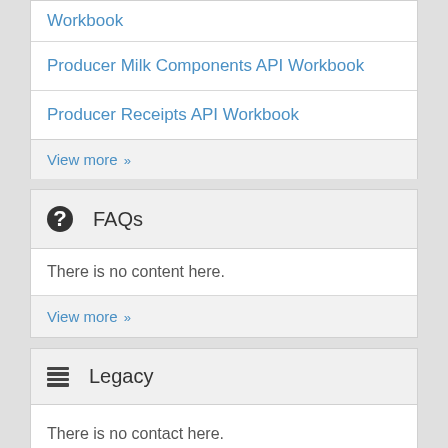Workbook
Producer Milk Components API Workbook
Producer Receipts API Workbook
View more »
FAQs
There is no content here.
View more »
Legacy
There is no contact here.
View more »
Publication Calendar